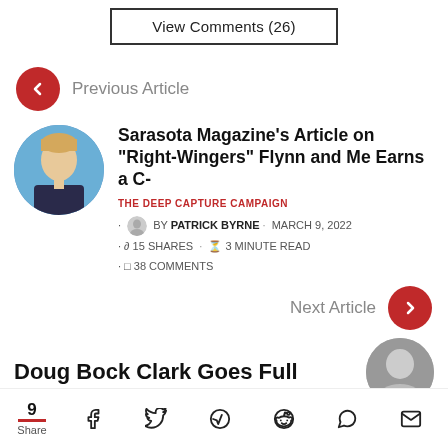View Comments (26)
Previous Article
Sarasota Magazine's Article on "Right-Wingers" Flynn and Me Earns a C-
THE DEEP CAPTURE CAMPAIGN
BY PATRICK BYRNE · MARCH 9, 2022
15 SHARES · 3 MINUTE READ
38 COMMENTS
Next Article
Doug Bock Clark Goes Full
9 Share